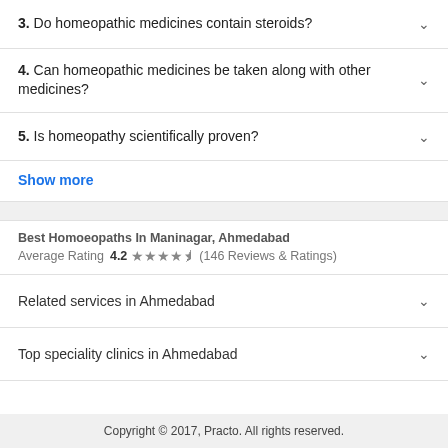3. Do homeopathic medicines contain steroids?
4. Can homeopathic medicines be taken along with other medicines?
5. Is homeopathy scientifically proven?
Show more
Best Homoeopaths In Maninagar, Ahmedabad
Average Rating 4.2 ★★★★½ (146 Reviews & Ratings)
Related services in Ahmedabad
Top speciality clinics in Ahmedabad
Copyright © 2017, Practo. All rights reserved.